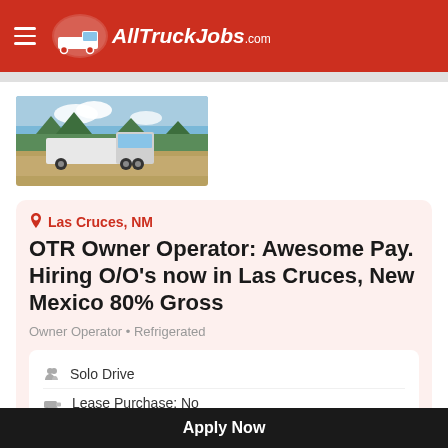AllTruckJobs.com
[Figure (photo): A semi-truck on a highway road with trees and blue sky in the background]
Las Cruces, NM
OTR Owner Operator: Awesome Pay. Hiring O/O's now in Las Cruces, New Mexico 80% Gross
Owner Operator • Refrigerated
Solo Drive
Lease Purchase: No
Posted 3 weeks ago
Apply Now